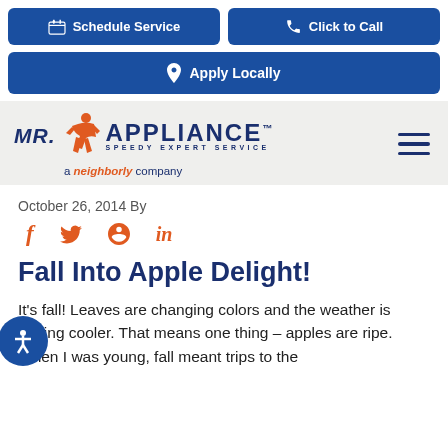Schedule Service | Click to Call | Apply Locally
[Figure (logo): Mr. Appliance logo with orange running figure, 'SPEEDY EXPERT SERVICE' tagline, and 'a neighborly company' subtitle]
October 26, 2014 By
[Figure (infographic): Social media share icons: Facebook (f), Twitter (bird), Pinterest (p), LinkedIn (in) in orange]
Fall Into Apple Delight!
It's fall! Leaves are changing colors and the weather is getting cooler. That means one thing – apples are ripe. When I was young, fall meant trips to the